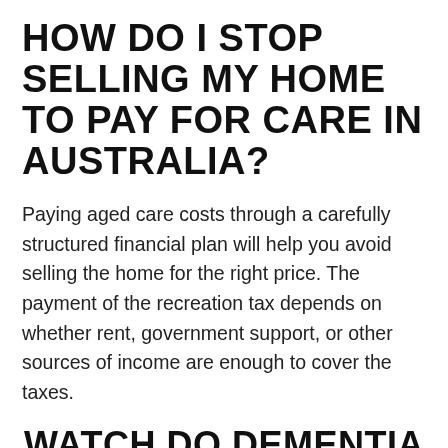HOW DO I STOP SELLING MY HOME TO PAY FOR CARE IN AUSTRALIA?
Paying aged care costs through a carefully structured financial plan will help you avoid selling the home for the right price. The payment of the recreation tax depends on whether rent, government support, or other sources of income are enough to cover the taxes.
WATCH DO DEMENTIA PATIENTS GET FREE